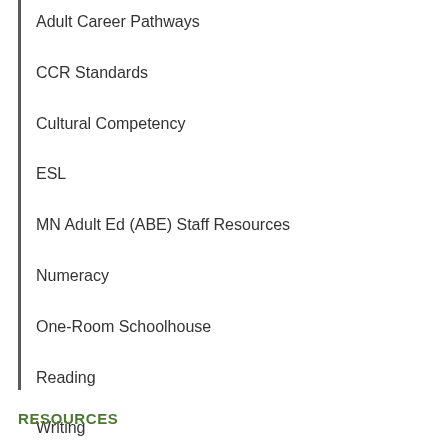Adult Career Pathways
CCR Standards
Cultural Competency
ESL
MN Adult Ed (ABE) Staff Resources
Numeracy
One-Room Schoolhouse
Reading
Writing
RESOURCES